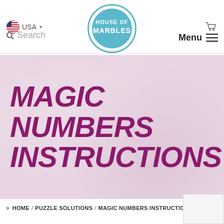[Figure (logo): House of Marbles circular logo with teal border]
USA
Search
Menu
[Figure (illustration): Pink/lavender textured hero banner background]
MAGIC NUMBERS INSTRUCTIONS
> HOME / PUZZLE SOLUTIONS / MAGIC NUMBERS INSTRUCTIONS